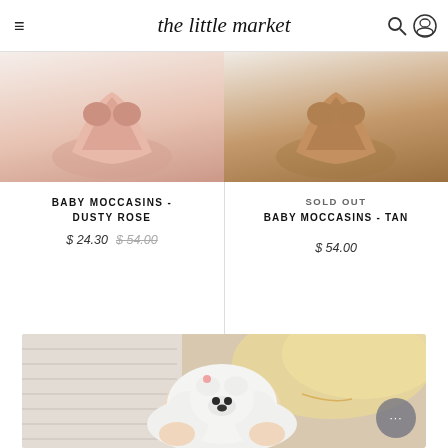the little market
[Figure (photo): Baby Moccasins - Dusty Rose product image, top portion of shoe visible]
BABY MOCCASINS - DUSTY ROSE
$ 24.30  $ 54.00
[Figure (photo): Baby Moccasins - Tan product image, top portion of tan shoe visible]
SOLD OUT
BABY MOCCASINS - TAN
$ 54.00
[Figure (photo): Close-up photo of a child holding a fluffy white stuffed polar bear toy, blonde hair visible in background]